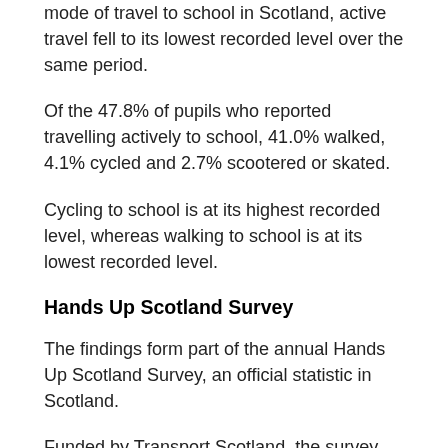mode of travel to school in Scotland, active travel fell to its lowest recorded level over the same period.
Of the 47.8% of pupils who reported travelling actively to school, 41.0% walked, 4.1% cycled and 2.7% scootered or skated.
Cycling to school is at its highest recorded level, whereas walking to school is at its lowest recorded level.
Hands Up Scotland Survey
The findings form part of the annual Hands Up Scotland Survey, an official statistic in Scotland.
Funded by Transport Scotland, the survey was carried out in September 2019 by Sustrans Scotland in partnership with all 32 Scottish local authorities.
We had 78.9% of all state schools in Scotland (excluding nurseries) took part in this year's survey